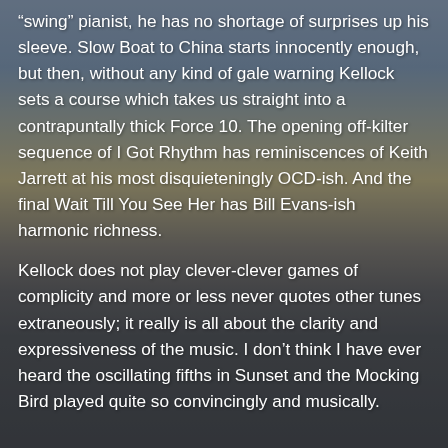“swing” pianist, he has no shortage of surprises up his sleeve. Slow Boat to China starts innocently enough, but then, without any kind of gale warning Kellock sets a course which takes us straight into a contrapuntally thick Force 10. The opening off-kilter sequence of I Got Rhythm has reminiscences of Keith Jarrett at his most disquieteningly OCD-ish. And the final Wait Till You See Her has Bill Evans-ish harmonic richness.
Kellock does not play clever-clever games of complicity and more or less never quotes other tunes extraneously; it really is all about the clarity and expressiveness of the music. I don’t think I have ever heard the oscillating fifths in Sunset and the Mocking Bird played quite so convincingly and musically.